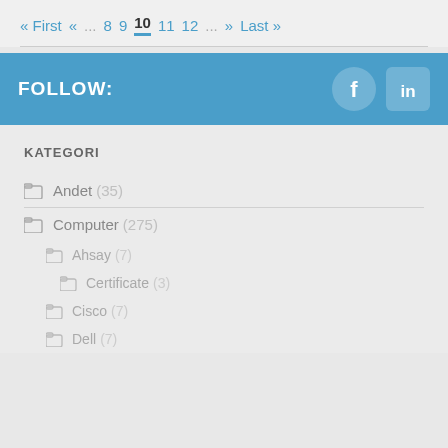« First  «  ...  8  9  10  11  12  ...  »  Last »
FOLLOW:
KATEGORI
Andet (35)
Computer (275)
Ahsay (7)
Certificate (3)
Cisco (7)
Dell (7)